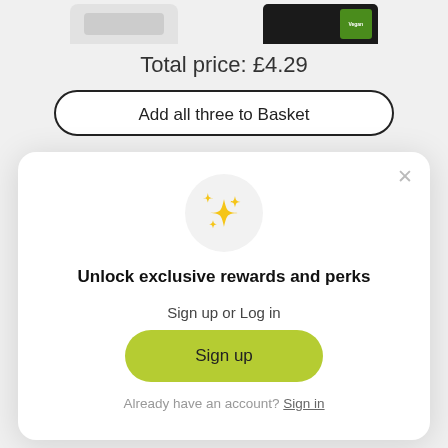[Figure (screenshot): Partial product images at top: left product in white/grey packaging, right product in dark packaging with green label]
Total price: £4.29
Add all three to Basket
[Figure (illustration): Sparkle/stars icon inside a grey circle]
Unlock exclusive rewards and perks
Sign up or Log in
Sign up
Already have an account? Sign in